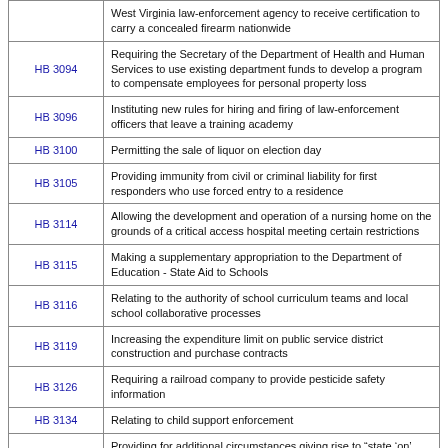| Bill | Description |
| --- | --- |
|  | West Virginia law-enforcement agency to receive certification to carry a concealed firearm nationwide |
| HB 3094 | Requiring the Secretary of the Department of Health and Human Services to use existing department funds to develop a program to compensate employees for personal property loss |
| HB 3096 | Instituting new rules for hiring and firing of law-enforcement officers that leave a training academy |
| HB 3100 | Permitting the sale of liquor on election day |
| HB 3105 | Providing immunity from civil or criminal liability for first responders who use forced entry to a residence |
| HB 3114 | Allowing the development and operation of a nursing home on the grounds of a critical access hospital meeting certain restrictions |
| HB 3115 | Making a supplementary appropriation to the Department of Education - State Aid to Schools |
| HB 3116 | Relating to the authority of school curriculum teams and local school collaborative processes |
| HB 3119 | Increasing the expenditure limit on public service district construction and purchase contracts |
| HB 3126 | Requiring a railroad company to provide pesticide safety information |
| HB 3134 | Relating to child support enforcement |
| HB 3137 | Providing for additional circumstances giving rise to "state 'on' indicators" for purposes of extended unemployment |